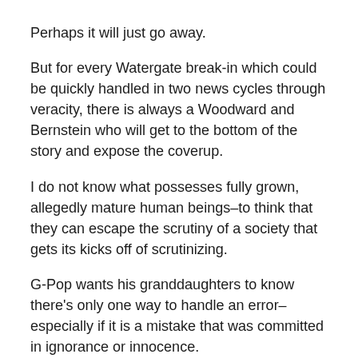Perhaps it will just go away.
But for every Watergate break-in which could be quickly handled in two news cycles through veracity, there is always a Woodward and Bernstein who will get to the bottom of the story and expose the coverup.
I do not know what possesses fully grown, allegedly mature human beings–to think that they can escape the scrutiny of a society that gets its kicks off of scrutinizing.
G-Pop wants his granddaughters to know there's only one way to handle an error–especially if it is a mistake that was committed in ignorance or innocence.
A. This is what I knew.
Yes, at the time the flaw was perpetrated, this is what I